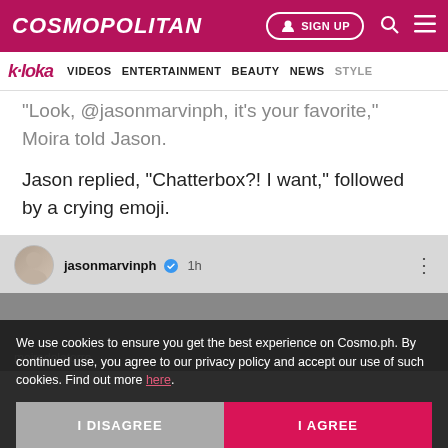COSMOPOLITAN | SIGN UP
k-loka  VIDEOS  ENTERTAINMENT  BEAUTY  NEWS  STYLE
"Look, @jasonmarvinph, it's your favorite," Moira told Jason.
Jason replied, "Chatterbox?! I want," followed by a crying emoji.
[Figure (screenshot): Instagram post by jasonmarvinph with verified badge, posted 1h ago, showing a photo with moiradelatorre visible]
We use cookies to ensure you get the best experience on Cosmo.ph. By continued use, you agree to our privacy policy and accept our use of such cookies. Find out more here.
I DISAGREE    I AGREE